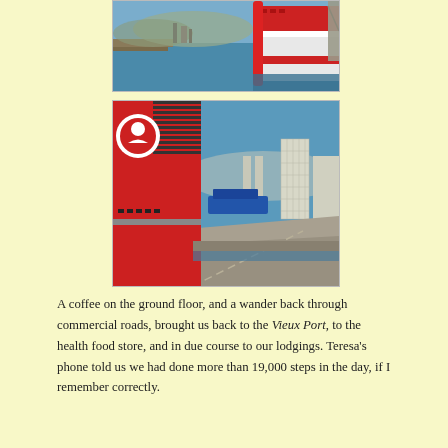[Figure (photo): Aerial view of a port with a large red and white ferry ship docked, blue water, harbor infrastructure and hills in the background]
[Figure (photo): View from a ferry deck showing the ship's red funnel with a white logo, a long concrete pier stretching into the distance, buildings including a tall modern tower, and blue sky]
A coffee on the ground floor, and a wander back through commercial roads, brought us back to the Vieux Port, to the health food store, and in due course to our lodgings. Teresa's phone told us we had done more than 19,000 steps in the day, if I remember correctly.